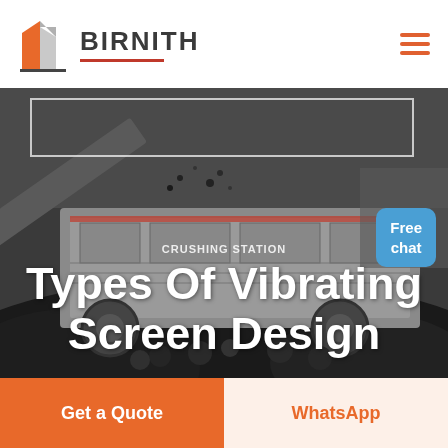[Figure (logo): Birnith company logo with orange/red building icon and BIRNITH text with red underline, plus hamburger menu icon on the right]
[Figure (photo): Industrial crushing station machinery with dark rocks/coal pile in the foreground, large industrial screening/crushing equipment in background]
Types Of Vibrating Screen Design
Free chat
Get a Quote
WhatsApp